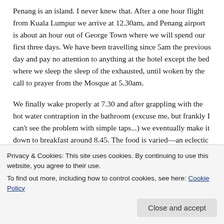Penang is an island. I never knew that. After a one hour flight from Kuala Lumpur we arrive at 12.30am, and Penang airport is about an hour out of George Town where we will spend our first three days. We have been travelling since 5am the previous day and pay no attention to anything at the hotel except the bed where we sleep the sleep of the exhausted, until woken by the call to prayer from the Mosque at 5.30am.
We finally wake properly at 7.30 and after grappling with the hot water contraption in the bathroom (excuse me, but frankly I can't see the problem with simple taps...) we eventually make it down to breakfast around 8.45. The food is varied—an eclectic mix of east and west—neither of which
Privacy & Cookies: This site uses cookies. By continuing to use this website, you agree to their use.
To find out more, including how to control cookies, see here: Cookie Policy